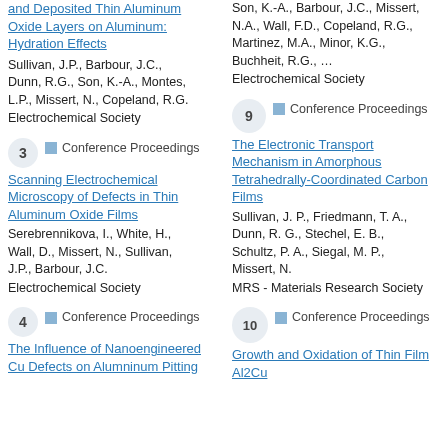and Deposited Thin Aluminum Oxide Layers on Aluminum: Hydration Effects
Sullivan, J.P., Barbour, J.C., Dunn, R.G., Son, K.-A., Montes, L.P., Missert, N., Copeland, R.G.
Electrochemical Society
Son, K.-A., Barbour, J.C., Missert, N.A., Wall, F.D., Copeland, R.G., Martinez, M.A., Minor, K.G., Buchheit, R.G., …
Electrochemical Society
3 — Conference Proceedings
Scanning Electrochemical Microscopy of Defects in Thin Aluminum Oxide Films
Serebrennikova, I., White, H., Wall, D., Missert, N., Sullivan, J.P., Barbour, J.C.
Electrochemical Society
9 — Conference Proceedings
The Electronic Transport Mechanism in Amorphous Tetrahedrally-Coordinated Carbon Films
Sullivan, J. P., Friedmann, T. A., Dunn, R. G., Stechel, E. B., Schultz, P. A., Siegal, M. P., Missert, N.
MRS - Materials Research Society
4 — Conference Proceedings
The Influence of Nanoengineered Cu Defects on Alumninum Pitting
10 — Conference Proceedings
Growth and Oxidation of Thin Film Al2Cu